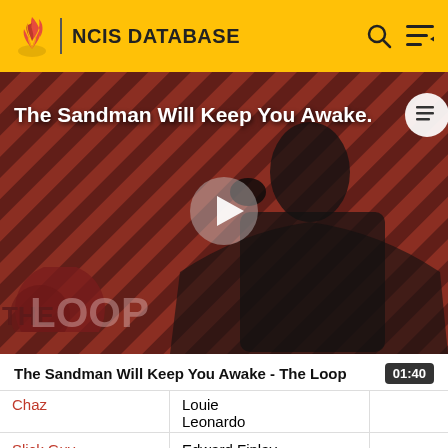NCIS DATABASE
[Figure (screenshot): Video thumbnail for 'The Sandman Will Keep You Awake - The Loop' showing a dark-cloaked figure against diagonal striped dark red background with 'THE LOOP' text and a play button overlay]
The Sandman Will Keep You Awake - The Loop  01:40
| Chaz | Louie
Leonardo |  |
| Slick Guy | Edward Finlay |  |